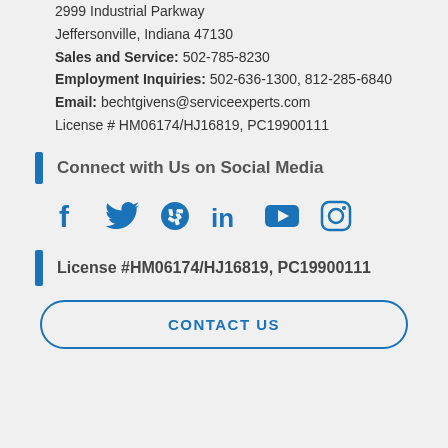2999 Industrial Parkway
Jeffersonville, Indiana 47130
Sales and Service: 502-785-8230
Employment Inquiries: 502-636-1300, 812-285-6840
Email: bechtgivens@serviceexperts.com
License # HM06174/HJ16819, PC19900111
Connect with Us on Social Media
[Figure (other): Social media icons: Facebook, Twitter, Yelp, LinkedIn, YouTube, Instagram]
License #HM06174/HJ16819, PC19900111
CONTACT US